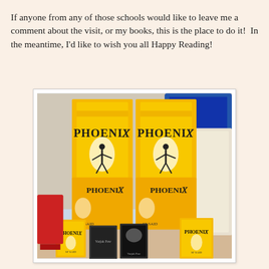If anyone from any of those schools would like to leave me a comment about the visit, or my books, this is the place to do it!  In the meantime, I'd like to wish you all Happy Reading!
[Figure (photo): Photo of multiple Phoenix book posters and small book copies by SF Said, including Varjak Paw, displayed on a table. The large banner-style posters show 'Phoenix' with golden flame imagery and a silhouetted figure, along with smaller paperback copies.]